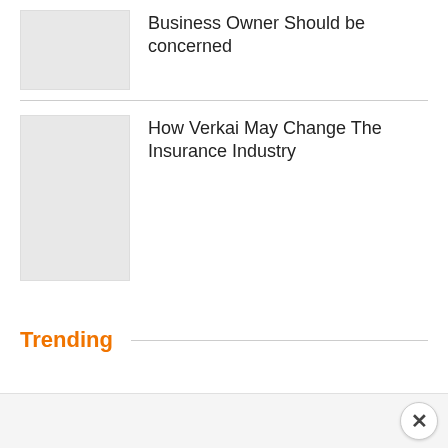Business Owner Should be concerned
[Figure (photo): Thumbnail image placeholder for article about Business Owner]
How Verkai May Change The Insurance Industry
[Figure (photo): Thumbnail image placeholder for article about Verkai and Insurance]
Trending
[Figure (other): Advertisement bar at bottom with close button (×)]